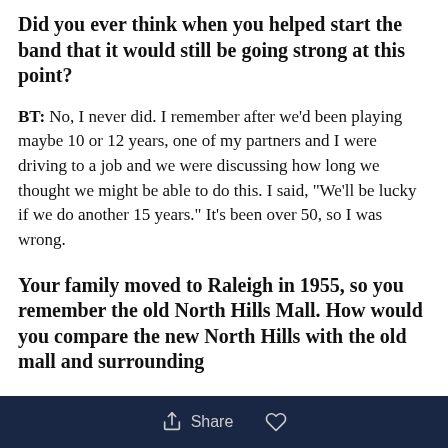Did you ever think when you helped start the band that it would still be going strong at this point?
BT: No, I never did. I remember after we'd been playing maybe 10 or 12 years, one of my partners and I were driving to a job and we were discussing how long we thought we might be able to do this. I said, "We'll be lucky if we do another 15 years." It's been over 50, so I was wrong.
Your family moved to Raleigh in 1955, so you remember the old North Hills Mall. How would you compare the new North Hills with the old mall and surrounding
Share